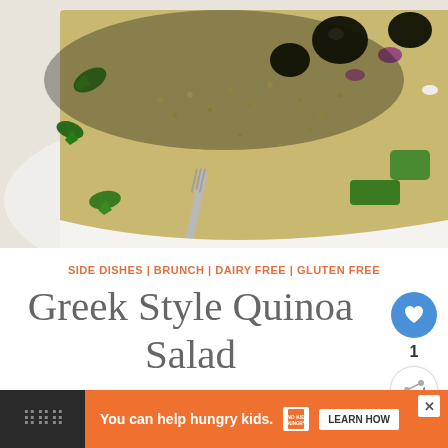[Figure (photo): Close-up photo of Greek Style Quinoa Salad with olives, cucumber, tomato, herbs, and feta on a white plate with a fork]
SIDE DISHES | BRUNCH | DAIRY FREE | GLUTEN FREE
Greek Style Quinoa Salad
1
You can help hungry kids.  NO KID HUNGRY  LEARN HOW